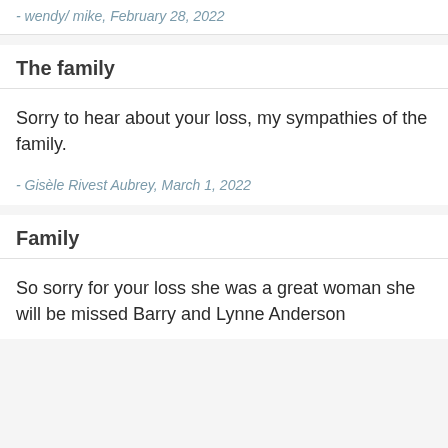- wendy/ mike, February 28, 2022
The family
Sorry to hear about your loss, my sympathies of the family.
- Gisèle Rivest Aubrey, March 1, 2022
Family
So sorry for your loss she was a great woman she will be missed Barry and Lynne Anderson